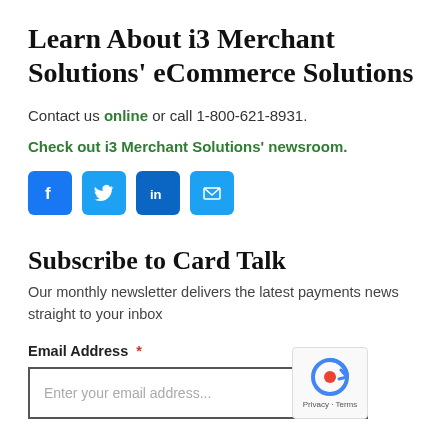Learn About i3 Merchant Solutions' eCommerce Solutions
Contact us online or call 1-800-621-8931.
Check out i3 Merchant Solutions' newsroom.
[Figure (infographic): Four social media/contact icons: Facebook (blue), Twitter (blue), LinkedIn (blue), Email (blue)]
Subscribe to Card Talk
Our monthly newsletter delivers the latest payments news straight to your inbox
Email Address *
[Figure (screenshot): Email address input field with placeholder text 'Enter your email address...' and a reCAPTCHA badge in the bottom right corner showing Privacy - Terms]